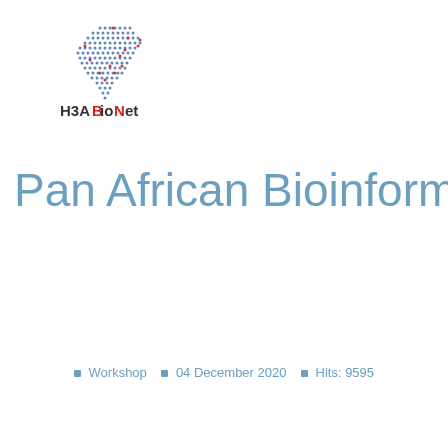[Figure (logo): H3ABioNet logo: dotted map of Africa in red and blue dots, with text H3ABioNet below]
Pan African Bioinformatics
Workshop  04 December 2020  Hits: 9595